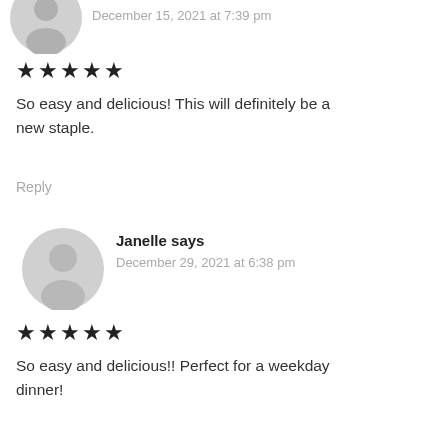[Figure (illustration): Gray avatar icon (partial, top cut off) for first commenter]
December 15, 2021 at 7:39 pm
★★★★★
So easy and delicious! This will definitely be a new staple.
Reply
[Figure (illustration): Gray avatar icon for Janelle]
Janelle says
December 29, 2021 at 6:38 pm
★★★★★
So easy and delicious!! Perfect for a weekday dinner!